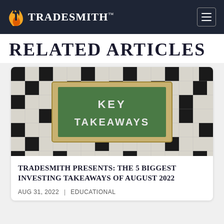TradeSmith™
RELATED ARTICLES
[Figure (photo): Photo of a green chalkboard sign with wooden frame reading KEY TAKEAWAYS, set on a crossword puzzle background]
TRADESMITH PRESENTS: THE 5 BIGGEST INVESTING TAKEAWAYS OF AUGUST 2022
AUG 31, 2022 | EDUCATIONAL